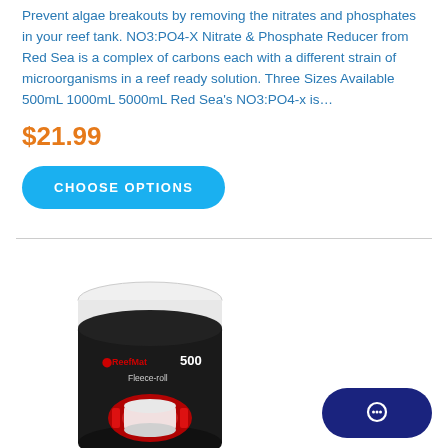Prevent algae breakouts by removing the nitrates and phosphates in your reef tank. NO3:PO4-X Nitrate & Phosphate Reducer from Red Sea is a complex of carbons each with a different strain of microorganisms in a reef ready solution. Three Sizes Available 500mL 1000mL 5000mL Red Sea's NO3:PO4-x is…
$21.99
CHOOSE OPTIONS
[Figure (photo): ReefMat 500 Fleece-roll product in a cylindrical black container with white roll on top and red mechanical components visible inside]